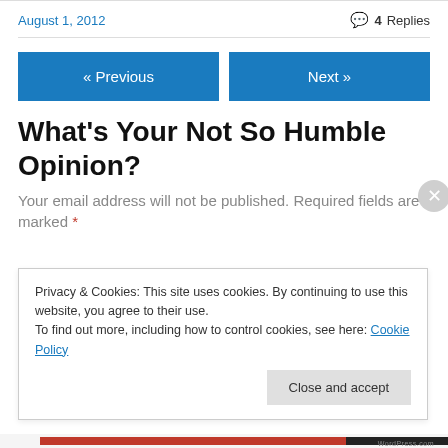August 1, 2012
4 Replies
« Previous
Next »
What's Your Not So Humble Opinion?
Your email address will not be published. Required fields are marked *
Privacy & Cookies: This site uses cookies. By continuing to use this website, you agree to their use.
To find out more, including how to control cookies, see here: Cookie Policy
Close and accept